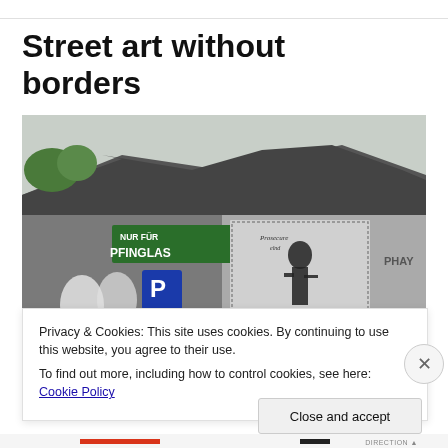Street art without borders
[Figure (photo): Photograph of a wall covered in street art and posters. A green sign reads 'NUR FÜR PFINGLAS'. A black and white poster shows a pirate-like figure. Additional graffiti and signage visible. Overcast sky with trees in background.]
Privacy & Cookies: This site uses cookies. By continuing to use this website, you agree to their use.
To find out more, including how to control cookies, see here: Cookie Policy
Close and accept